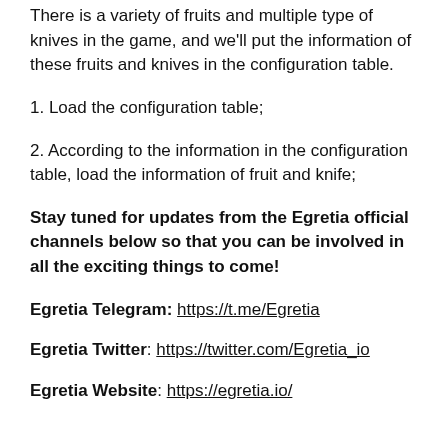There is a variety of fruits and multiple type of knives in the game, and we'll put the information of these fruits and knives in the configuration table.
1. Load the configuration table;
2. According to the information in the configuration table, load the information of fruit and knife;
Stay tuned for updates from the Egretia official channels below so that you can be involved in all the exciting things to come!
Egretia Telegram: https://t.me/Egretia
Egretia Twitter: https://twitter.com/Egretia_io
Egretia Website: https://egretia.io/